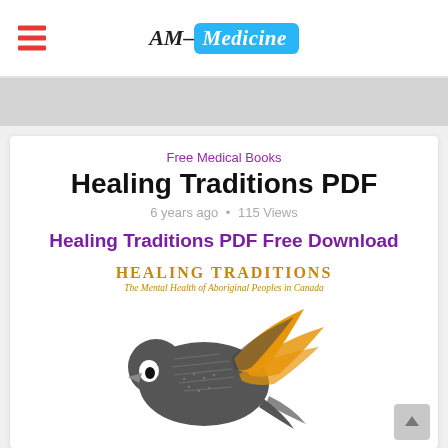AM-Medicine
Free Medical Books
Healing Traditions PDF
6 years ago • 115 Views
Healing Traditions PDF Free Download
[Figure (illustration): Book cover of 'Healing Traditions: The Mental Health of Aboriginal Peoples in Canada' showing a stylized bird illustration in gray and orange/gold colors]